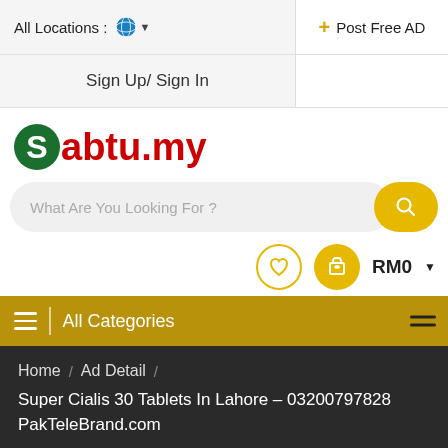All Locations : 🌍 ▾    Sign Up/ Sign In    + Post Free AD
[Figure (logo): Sabtu.my logo - green S in circle followed by red text abtu.my]
What Are You Looking For ?
RM0 ▾
≡  |  All Categories
Home  /  Ad Detail  /  Super Cialis 30 Tablets In Lahore – 03200797828 PakTeleBrand.com